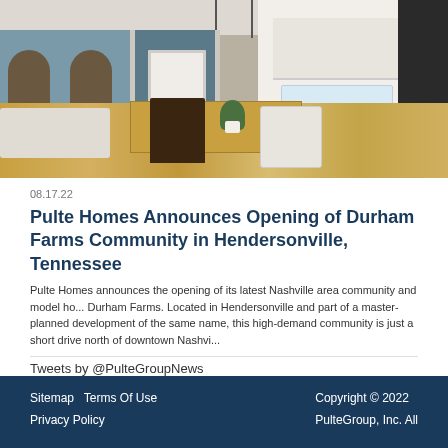[Figure (photo): Interior photo of a model home showing open floor plan with dining table, living area with fireplace and arched bookshelves, kitchen with island and white cabinetry, hardwood floors, and pendant lighting.]
08.17.22
Pulte Homes Announces Opening of Durham Farms Community in Hendersonville, Tennessee
Pulte Homes announces the opening of its latest Nashville area community and model ho... Durham Farms. Located in Hendersonville and part of a master-planned development of the same name, this high-demand community is just a short drive north of downtown Nashvi...
Tweets by @PulteGroupNews
Sitemap  Terms Of Use  Privacy Policy  |  Copyright © 2022 PulteGroup, Inc. All